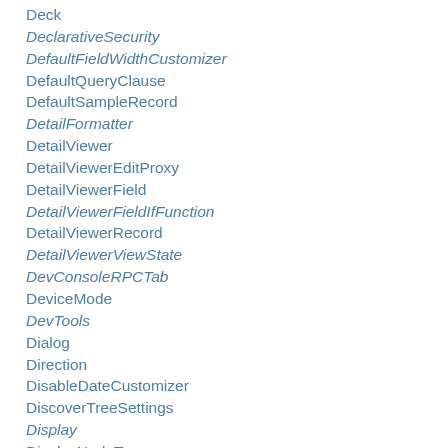Deck
DeclarativeSecurity
DefaultFieldWidthCustomizer
DefaultQueryClause
DefaultSampleRecord
DetailFormatter
DetailViewer
DetailViewerEditProxy
DetailViewerField
DetailViewerFieldIfFunction
DetailViewerRecord
DetailViewerViewState
DevConsoleRPCTab
DeviceMode
DevTools
Dialog
Direction
DisableDateCustomizer
DiscoverTreeSettings
Display
DisplayNodeType
DMI
DmiOverview
DoesntContainValidator
DomIntegration